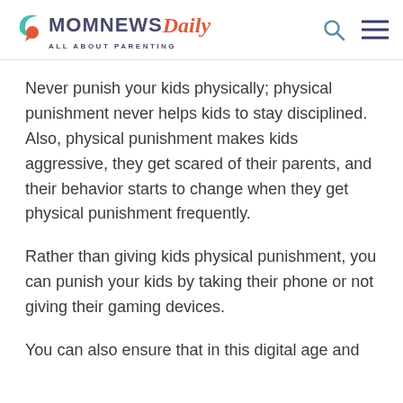MOM NEWS Daily — ALL ABOUT PARENTING
Never punish your kids physically; physical punishment never helps kids to stay disciplined. Also, physical punishment makes kids aggressive, they get scared of their parents, and their behavior starts to change when they get physical punishment frequently.
Rather than giving kids physical punishment, you can punish your kids by taking their phone or not giving their gaming devices.
You can also ensure that in this digital age and...